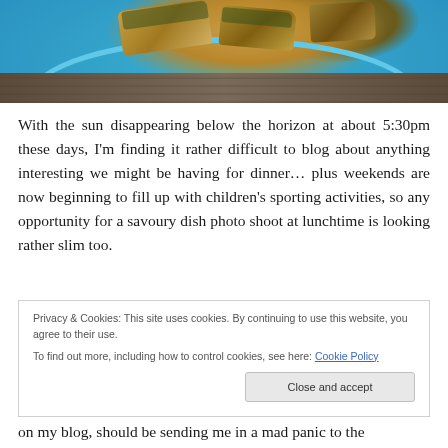[Figure (photo): Close-up photo of food (baked/fried pieces) on a blue plate, placed on a rustic wooden surface. The plate has a bright cyan/turquoise color and the background shows weathered blue-painted wood.]
With the sun disappearing below the horizon at about 5:30pm these days, I'm finding it rather difficult to blog about anything interesting we might be having for dinner… plus weekends are now beginning to fill up with children's sporting activities, so any opportunity for a savoury dish photo shoot at lunchtime is looking rather slim too.
Privacy & Cookies: This site uses cookies. By continuing to use this website, you agree to their use.
To find out more, including how to control cookies, see here: Cookie Policy
on my blog, should be sending me in a mad panic to the